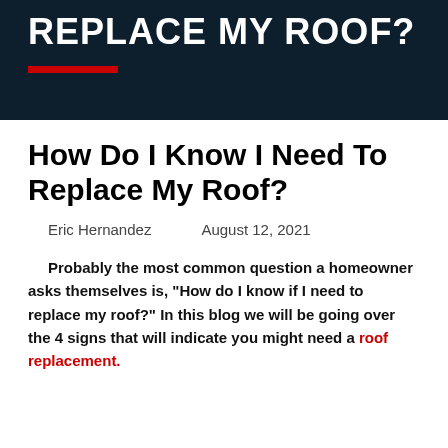REPLACE MY ROOF?
How Do I Know I Need To Replace My Roof?
Eric Hernandez    August 12, 2021
Probably the most common question a homeowner asks themselves is, "How do I know if I need to replace my roof?" In this blog we will be going over the 4 signs that will indicate you might need a roof replacement.